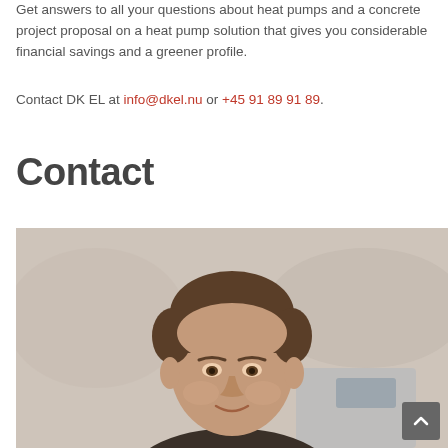Get answers to all your questions about heat pumps and a concrete project proposal on a heat pump solution that gives you considerable financial savings and a greener profile.
Contact DK EL at info@dkel.nu or +45 91 89 91 89.
Contact
[Figure (photo): Portrait photo of a middle-aged man with short brown hair, smiling slightly, in an industrial or workshop setting with blurred background]